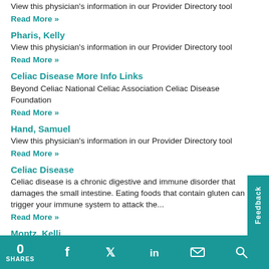View this physician's information in our Provider Directory tool
Read More »
Pharis, Kelly
View this physician's information in our Provider Directory tool
Read More »
Celiac Disease More Info Links
Beyond Celiac National Celiac Association Celiac Disease Foundation
Read More »
Hand, Samuel
View this physician's information in our Provider Directory tool
Read More »
Celiac Disease
Celiac disease is a chronic digestive and immune disorder that damages the small intestine. Eating foods that contain gluten can trigger your immune system to attack the...
Read More »
Montz, Kelli
0 SHARES